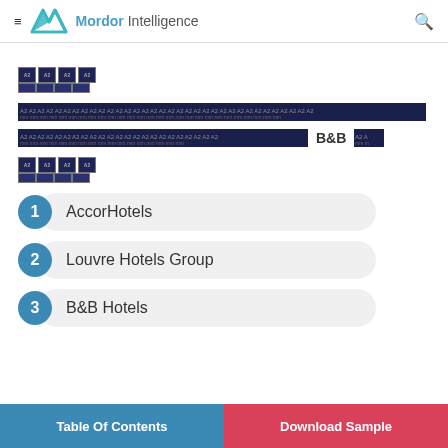Mordor Intelligence
[Figure (other): Small redacted/blurred text block (4 cells)]
[Redacted text block - full width line]
[Redacted text block - partial line with B&B mention]
[Figure (other): Small redacted/blurred text block (4 cells)]
1. AccorHotels
2. Louvre Hotels Group
3. B&B Hotels
Table Of Contents | Download Sample